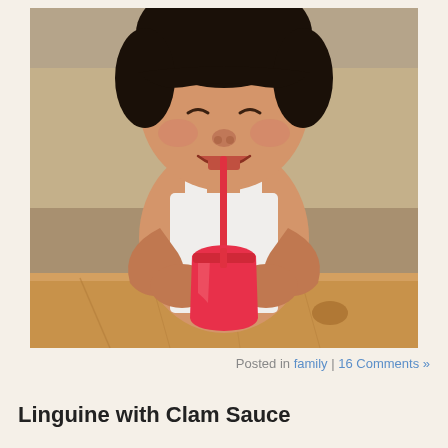[Figure (photo): A baby/toddler with dark hair drinking from a red sippy cup with a red straw, seated at a wooden table with a couch/sofa in the background. The child is smiling/squinting while holding the cup with both hands.]
Posted in family | 16 Comments »
Linguine with Clam Sauce